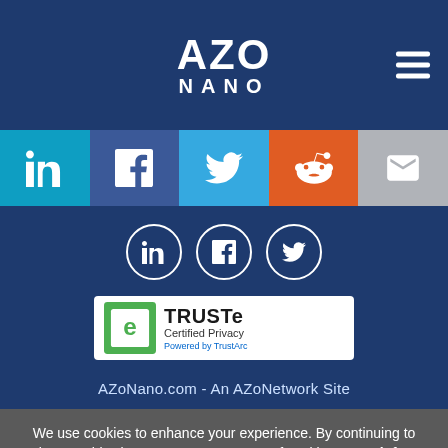[Figure (logo): AZoNano logo with 'AZO' large text above 'NANO' in white on dark blue background, with hamburger menu icon on right]
[Figure (infographic): Social media share bar with LinkedIn (light blue), Facebook (dark blue), Twitter (sky blue), Reddit (orange), Email (gray) icons]
[Figure (infographic): Three white circle icons for LinkedIn, Facebook, and Twitter on dark blue background]
[Figure (logo): TRUSTe Certified Privacy badge - white rectangle with green e-logo, 'TRUSTe Certified Privacy Powered by TrustArc' text]
AZoNano.com - An AZoNetwork Site
We use cookies to enhance your experience. By continuing to browse this site you agree to our use of cookies. More info.
✓ Accept
Cookie Settings